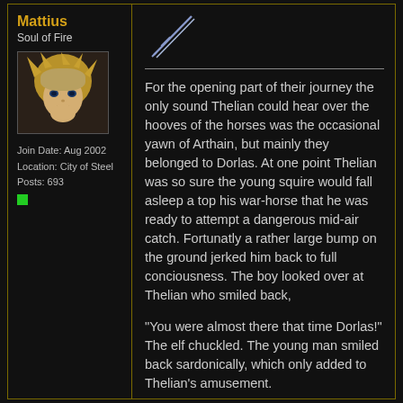Mattius
Soul of Fire
[Figure (photo): Avatar image of an anime-style character with blonde hair]
Join Date: Aug 2002
Location: City of Steel
Posts: 693
[Figure (illustration): Sword/dagger icon in light blue color]
For the opening part of their journey the only sound Thelian could hear over the hooves of the horses was the occasional yawn of Arthain, but mainly they belonged to Dorlas. At one point Thelian was so sure the young squire would fall asleep a top his war-horse that he was ready to attempt a dangerous mid-air catch. Fortunatly a rather large bump on the ground jerked him back to full conciousness. The boy looked over at Thelian who smiled back,
"You were almost there that time Dorlas!" The elf chuckled. The young man smiled back sardonically, which only added to Thelian's amusement.
"Here," he said riding closer to Dorlas and handing him